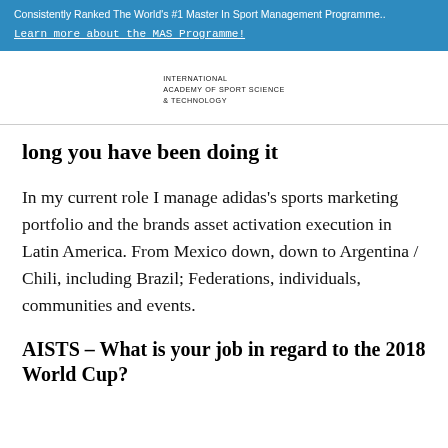Consistently Ranked The World's #1 Master In Sport Management Programme.. Learn more about the MAS Programme!
[Figure (logo): INTERNATIONAL ACADEMY OF SPORT SCIENCE & TECHNOLOGY logo text]
long you have been doing it
In my current role I manage adidas's sports marketing portfolio and the brands asset activation execution in Latin America. From Mexico down, down to Argentina / Chili, including Brazil; Federations, individuals, communities and events.
AISTS – What is your job in regard to the 2018 World Cup?